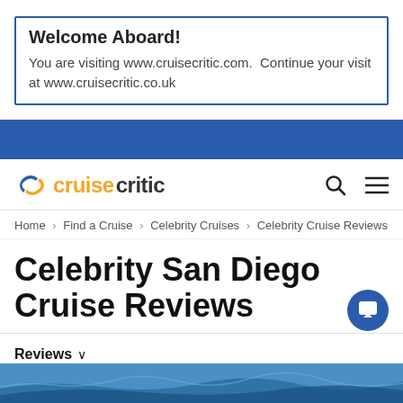Welcome Aboard!
You are visiting www.cruisecritic.com.  Continue your visit at www.cruisecritic.co.uk
[Figure (screenshot): Blue navigation bar (CruiseCritic website header bar)]
[Figure (logo): CruiseCritic logo with orange C icon and orange/black wordmark, search and menu icons]
Home > Find a Cruise > Celebrity Cruises > Celebrity Cruise Reviews
Celebrity San Diego Cruise Reviews
Reviews ∨
[Figure (photo): Bottom partial photo of a seascape or cruise-related image in blue tones]